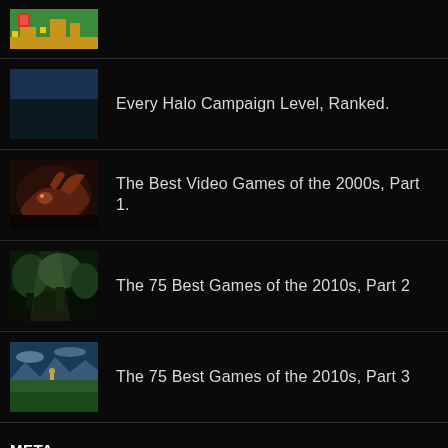[Figure (screenshot): Partial top row with a pixel-art style game thumbnail (Mario-like scene with colorful platform game graphics)]
Every Halo Campaign Level, Ranked.
The Best Video Games of the 2000s, Part 1.
The 75 Best Games of the 2010s, Part 2
The 75 Best Games of the 2010s, Part 3
META
Register
Log in
Entries feed